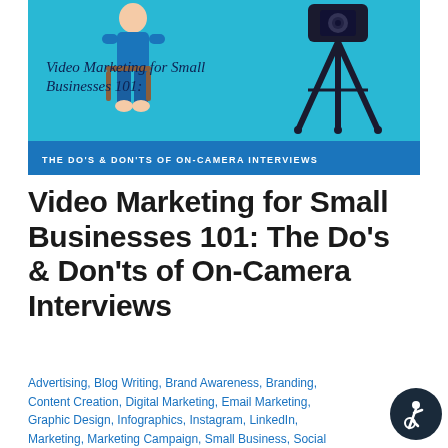[Figure (illustration): Hero banner with light blue background showing an illustrated person sitting and a camera tripod on the right. Contains italic script text 'Video Marketing for Small Businesses 101:' and a dark blue bar at the bottom reading 'The Do's & Don'ts of On-Camera Interviews']
Video Marketing for Small Businesses 101: The Do's & Don'ts of On-Camera Interviews
Advertising, Blog Writing, Brand Awareness, Branding, Content Creation, Digital Marketing, Email Marketing, Graphic Design, Infographics, Instagram, LinkedIn, Marketing, Marketing Campaign, Small Business, Social Media, Twitter, video production, videos, Website / By OpticTour Agency